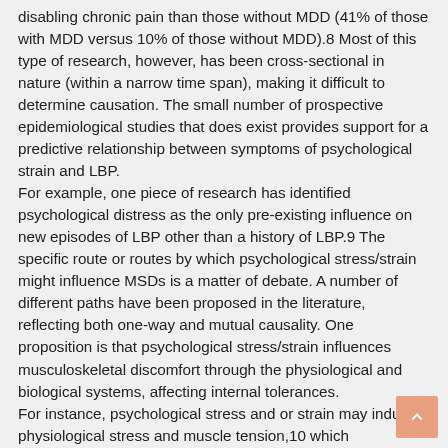disabling chronic pain than those without MDD (41% of those with MDD versus 10% of those without MDD).8 Most of this type of research, however, has been cross-sectional in nature (within a narrow time span), making it difficult to determine causation. The small number of prospective epidemiological studies that does exist provides support for a predictive relationship between symptoms of psychological strain and LBP. For example, one piece of research has identified psychological distress as the only pre-existing influence on new episodes of LBP other than a history of LBP.9 The specific route or routes by which psychological stress/strain might influence MSDs is a matter of debate. A number of different paths have been proposed in the literature, reflecting both one-way and mutual causality. One proposition is that psychological stress/strain influences musculoskeletal discomfort through the physiological and biological systems, affecting internal tolerances. For instance, psychological stress and or strain may induce physiological stress and muscle tension,10 which